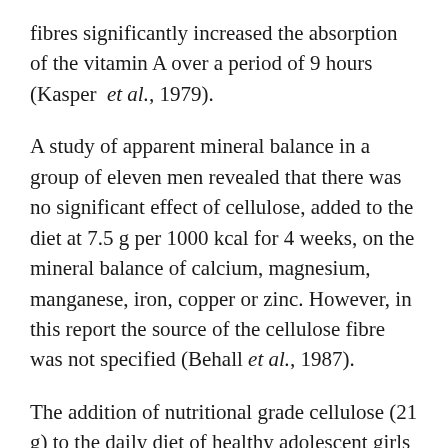fibres significantly increased the absorption of the vitamin A over a period of 9 hours (Kasper et al., 1979).
A study of apparent mineral balance in a group of eleven men revealed that there was no significant effect of cellulose, added to the diet at 7.5 g per 1000 kcal for 4 weeks, on the mineral balance of calcium, magnesium, manganese, iron, copper or zinc. However, in this report the source of the cellulose fibre was not specified (Behall et al., 1987).
The addition of nutritional grade cellulose (21 g) to the daily diet of healthy adolescent girls resulted in reduction of the serum calcium,